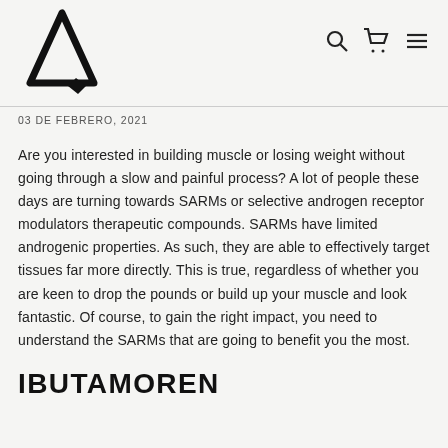[Figure (logo): Black geometric letter A logo with a small diamond shape at the bottom right]
03 DE FEBRERO, 2021
Are you interested in building muscle or losing weight without going through a slow and painful process? A lot of people these days are turning towards SARMs or selective androgen receptor modulators therapeutic compounds. SARMs have limited androgenic properties. As such, they are able to effectively target tissues far more directly. This is true, regardless of whether you are keen to drop the pounds or build up your muscle and look fantastic. Of course, to gain the right impact, you need to understand the SARMs that are going to benefit you the most.
IBUTAMOREN